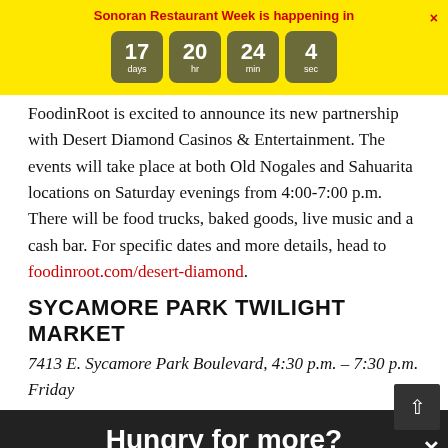Sonoran Restaurant Week is happening in
[Figure (infographic): Countdown timer showing 17 days, 20 hr, 24 min, 4 sec in dark olive rounded boxes on yellow background]
FoodinRoot is excited to announce its new partnership with Desert Diamond Casinos & Entertainment. The events will take place at both Old Nogales and Sahuarita locations on Saturday evenings from 4:00-7:00 p.m. There will be food trucks, baked goods, live music and a cash bar. For specific dates and more details, head to foodinroot.com/desert-diamond.
SYCAMORE PARK TWILIGHT MARKET
7413 E. Sycamore Park Boulevard, 4:30 p.m. – 7:30 p.m. Friday
Hungry for more?